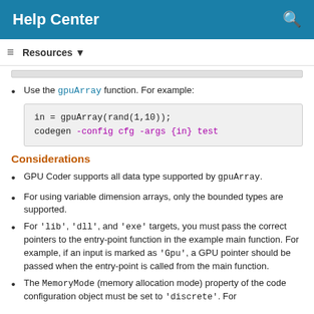Help Center
Resources ▼
Use the gpuArray function. For example:
in = gpuArray(rand(1,10));
codegen -config cfg -args {in} test
Considerations
GPU Coder supports all data type supported by gpuArray.
For using variable dimension arrays, only the bounded types are supported.
For 'lib', 'dll', and 'exe' targets, you must pass the correct pointers to the entry-point function in the example main function. For example, if an input is marked as 'Gpu', a GPU pointer should be passed when the entry-point is called from the main function.
The MemoryMode (memory allocation mode) property of the code configuration object must be set to 'discrete'. For